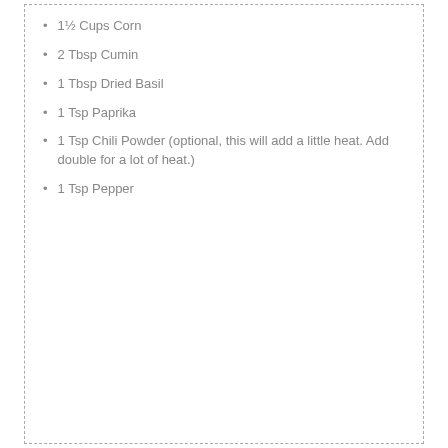1½ Cups Corn
2 Tbsp Cumin
1 Tbsp Dried Basil
1 Tsp Paprika
1 Tsp Chili Powder (optional, this will add a little heat. Add double for a lot of heat.)
1 Tsp Pepper